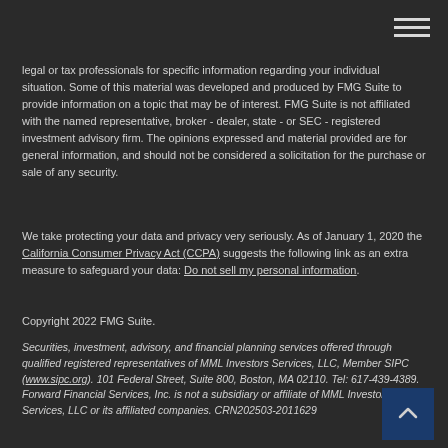legal or tax professionals for specific information regarding your individual situation. Some of this material was developed and produced by FMG Suite to provide information on a topic that may be of interest. FMG Suite is not affiliated with the named representative, broker - dealer, state - or SEC - registered investment advisory firm. The opinions expressed and material provided are for general information, and should not be considered a solicitation for the purchase or sale of any security.
We take protecting your data and privacy very seriously. As of January 1, 2020 the California Consumer Privacy Act (CCPA) suggests the following link as an extra measure to safeguard your data: Do not sell my personal information.
Copyright 2022 FMG Suite.
Securities, investment, advisory, and financial planning services offered through qualified registered representatives of MML Investors Services, LLC, Member SIPC (www.sipc.org). 101 Federal Street, Suite 800, Boston, MA 02110. Tel: 617-439-4389. Forward Financial Services, Inc. is not a subsidiary or affiliate of MML Investors Services, LLC or its affiliated companies. CRN202503-2011629